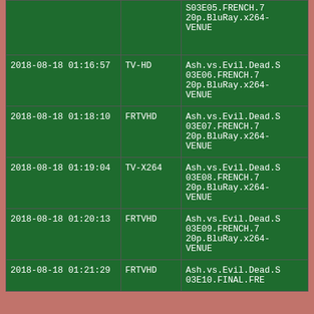| Date/Time | Type | Filename |
| --- | --- | --- |
|  |  | S03E05.FRENCH.720p.BluRay.x264-VENUE |
| 2018-08-18 01:16:57 | TV-HD | Ash.vs.Evil.Dead.S03E06.FRENCH.720p.BluRay.x264-VENUE |
| 2018-08-18 01:18:10 | FRTVHD | Ash.vs.Evil.Dead.S03E07.FRENCH.720p.BluRay.x264-VENUE |
| 2018-08-18 01:19:04 | TV-X264 | Ash.vs.Evil.Dead.S03E08.FRENCH.720p.BluRay.x264-VENUE |
| 2018-08-18 01:20:13 | FRTVHD | Ash.vs.Evil.Dead.S03E09.FRENCH.720p.BluRay.x264-VENUE |
| 2018-08-18 01:21:29 | FRTVHD | Ash.vs.Evil.Dead.S03E10.FINAL.FRE... |